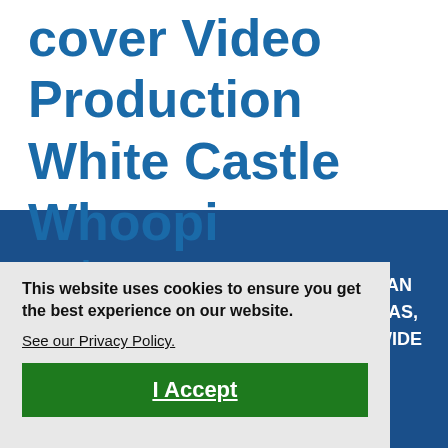cover Video Production White Castle Whoopi woke Women Media Pros Yuri Gurriel
[Figure (screenshot): Cookie consent modal overlay on a dark blue website background. Modal says 'This website uses cookies to ensure you get the best experience on our website. See our Privacy Policy.' with a green 'I Accept' button. Background shows partial text: ES, SAN / DALLAS, / LLDWIDE and ps]
This website uses cookies to ensure you get the best experience on our website.
See our Privacy Policy.
I Accept